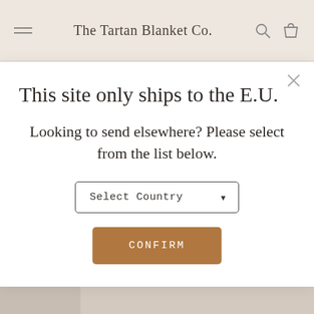The Tartan Blanket Co.
This site only ships to the E.U.
Looking to send elsewhere? Please select from the list below.
[Figure (screenshot): A dropdown selector labeled 'Select Country' with a down arrow, inside a white modal dialog]
[Figure (photo): Background photo of a cream/beige blanket with fringe hanging, partially visible behind the modal]